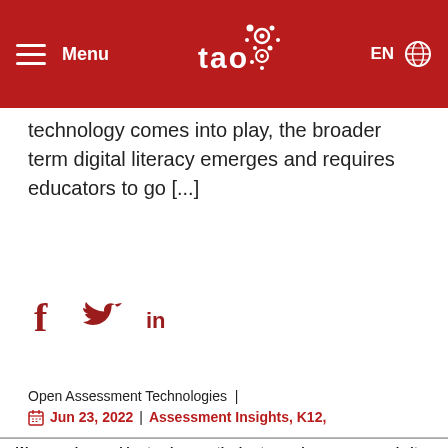Menu | TAO logo | EN
technology comes into play, the broader term digital literacy emerges and requires educators to go [...]
[Figure (infographic): Social media share icons: Facebook (f), Twitter (bird), LinkedIn (in) in dark red]
Open Assessment Technologies  |  Jun 23, 2022 | Assessment Insights, K12,
We are using cookies to give you the best experience on our website.
You can find out more about which cookies we are using or switch them off in settings.
Accept